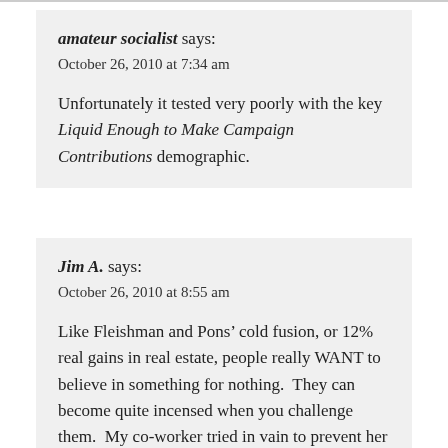amateur socialist says:
October 26, 2010 at 7:34 am
Unfortunately it tested very poorly with the key Liquid Enough to Make Campaign Contributions demographic.
Jim A. says:
October 26, 2010 at 8:55 am
Like Fleishman and Pons’ cold fusion, or 12% real gains in real estate, people really WANT to believe in something for nothing.  They can become quite incensed when you challenge them.  My co-worker tried in vain to prevent her nephew from wiring